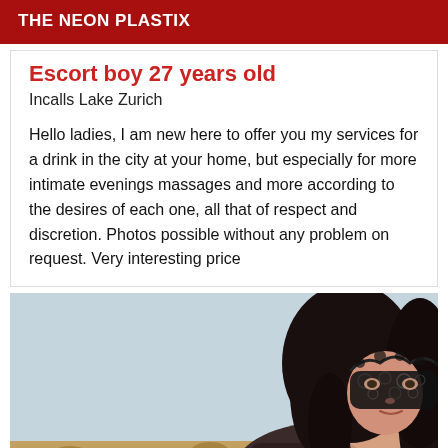THE NEON PLASTIX
Escort boy 27 years old
Incalls Lake Zurich
Hello ladies, I am new here to offer you my services for a drink in the city at your home, but especially for more intimate evenings massages and more according to the desires of each one, all that of respect and discretion. Photos possible without any problem on request. Very interesting price
[Figure (photo): Person wearing a black lace masquerade mask with dark long hair, wearing a leopard print outfit, posed on a bed with a light blue/grey background wall.]